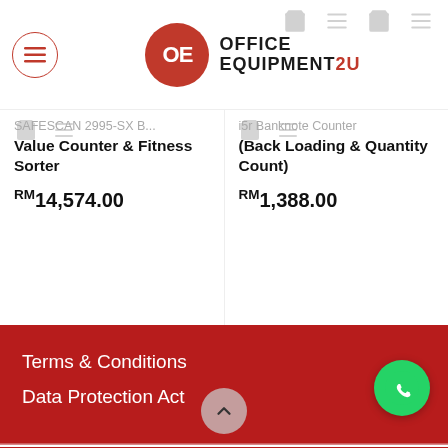[Figure (logo): OE Office Equipment 2U logo with red circle OE icon and bold text]
SAFESCAN 2995-SX B...
Value Counter & Fitness Sorter
RM14,574.00
i5r Banknote Counter (Back Loading & Quantity Count)
RM1,388.00
Terms & Conditions
Data Protection Act
Syarikat Kichong Office Equipment Sdn Bhd
Syarikat Kichong Office Equipment... Cash Processing Equipment, Door Access System, Filing Cabinet, Guard Tour System, Office